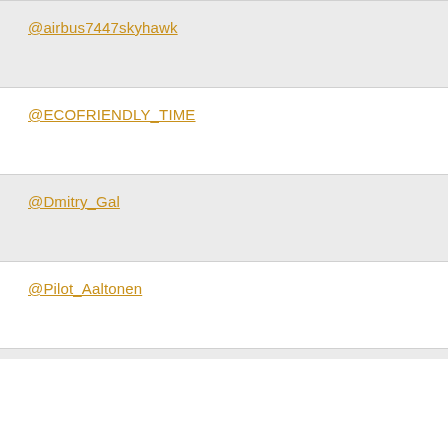@airbus7447skyhawk
@ECOFRIENDLY_TIME
@Dmitry_Gal
@Pilot_Aaltonen